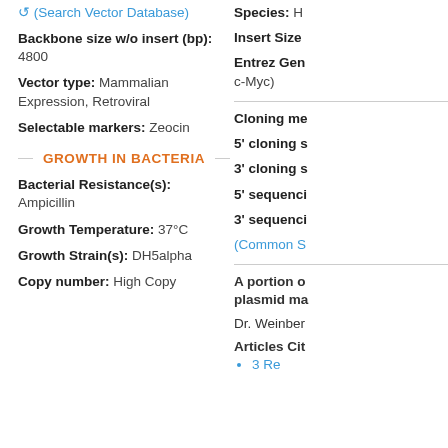(Search Vector Database)
Backbone size w/o insert (bp): 4800
Vector type: Mammalian Expression, Retroviral
Selectable markers: Zeocin
GROWTH IN BACTERIA
Bacterial Resistance(s): Ampicillin
Growth Temperature: 37°C
Growth Strain(s): DH5alpha
Copy number: High Copy
Species: H...
Insert Size...
Entrez Gen... c-Myc)
Cloning me...
5' cloning s...
3' cloning s...
5' sequenci...
3' sequenci...
(Common S...
A portion o... plasmid ma...
Dr. Weinber...
Articles Cit...
3 Re...